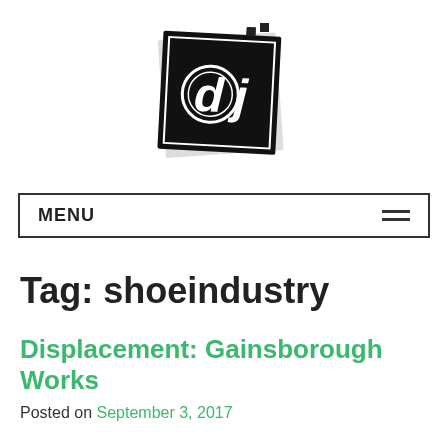[Figure (logo): DJ logo: black tilted square/polaroid with white 'd' and 'j' letters, circle around 'd', on white background]
MENU
Tag: shoeindustry
Displacement: Gainsborough Works
Posted on September 3, 2017